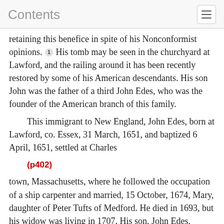Contents
retaining this benefice in spite of his Nonconformist opinions. 1 His tomb may be seen in the churchyard at Lawford, and the railing around it has been recently restored by some of his American descendants. His son John was the father of a third John Edes, who was the founder of the American branch of this family.

This immigrant to New England, John Edes, born at Lawford, co. Essex, 31 March, 1651, and baptized 6 April, 1651, settled at Charles
(p402)
town, Massachusetts, where he followed the occupation of a ship carpenter and married, 15 October, 1674, Mary, daughter of Peter Tufts of Medford. He died in 1693, but his widow was living in 1707. His son, John Edes, cordwainer, baptized 22 August, 1680, married, 13 April, 1698, Grace, daughter of George and Elizabeth Lawrence, and died 16 January, 1721, aged 42. His